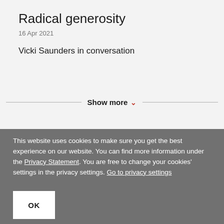Radical generosity
16 Apr 2021
Vicki Saunders in conversation
Show more
This website uses cookies to make sure you get the best experience on our website. You can find more information under the Privacy Statement. You are free to change your cookies' settings in the privacy settings. Go to privacy settings
OK